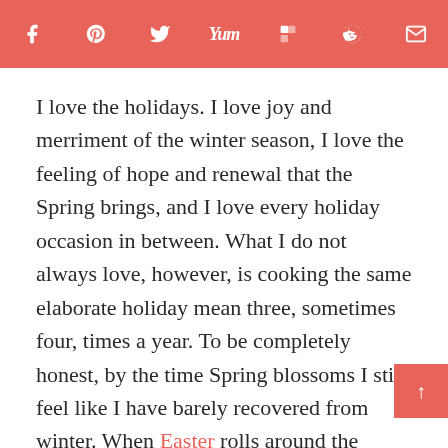Social share icons: Facebook, Pinterest, Twitter, Yummly, Flipboard, Reddit, Email
I love the holidays. I love joy and merriment of the winter season, I love the feeling of hope and renewal that the Spring brings, and I love every holiday occasion in between. What I do not always love, however, is cooking the same elaborate holiday mean three, sometimes four, times a year. To be completely honest, by the time Spring blossoms I still feel like I have barely recovered from winter. When Easter rolls around the thought of a traditional turkey dinner does not excite me. For this reason, I am opting out of turkey this year and